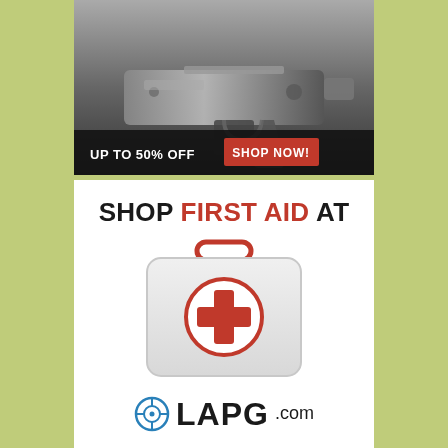[Figure (photo): Advertisement banner showing a firearm component (AR-15 lower receiver) with text 'UP TO 50% OFF' and a red 'SHOP NOW!' button on a dark background.]
[Figure (illustration): Advertisement for LAPG.com showing 'SHOP FIRST AID AT' text in bold with a first aid kit icon (white case with red cross symbol) and the LAPG.com logo with crosshair icon.]
Think your product is a good match for SurvivalBlog Readers?
Advertise